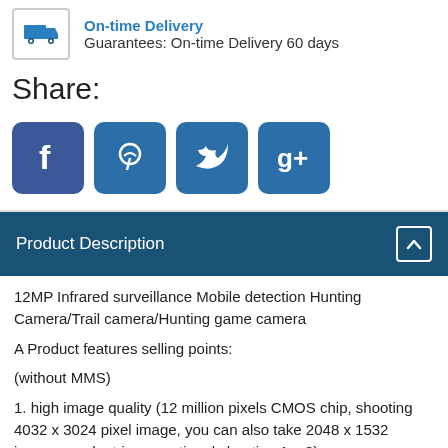[Figure (infographic): Truck delivery icon in a bordered box, with blue 'On-time Delivery' link text and 'Guarantees: On-time Delivery 60 days' text beside it]
Share:
[Figure (infographic): Four social media icons (Facebook, Pinterest, Twitter, Google+) as blue rounded square buttons]
Product Description
12MP Infrared surveillance Mobile detection Hunting Camera/Trail camera/Hunting game camera
A Product features selling points:
(without MMS)
1. high image quality (12 million pixels CMOS chip, shooting 4032 x 3024 pixel image, you can also take 2048 x 1532 images, and a trigger, optional shooting 1 – 3)
2.quick start response (from the discovery of the target to shoot, the time interval is less than 1-2 seconds)